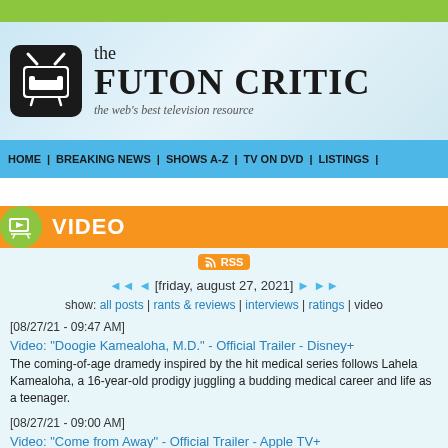the FUTON CRITIC – the web's best television resource
VIDEO
[friday, august 27, 2021]
show: all posts | rants & reviews | interviews | ratings | video
[08/27/21 - 09:47 AM]
Video: "Doogie Kamealoha, M.D." - Official Trailer - Disney+
The coming-of-age dramedy inspired by the hit medical series follows Lahela Kamealoha, a 16-year-old prodigy juggling a budding medical career and life as a teenager.
[08/27/21 - 09:00 AM]
Video: "Come from Away" - Official Trailer - Apple TV+
The acclaimed Broadway musical about coming together with 7,000 comple… comes to Apple TV+ on September 10.